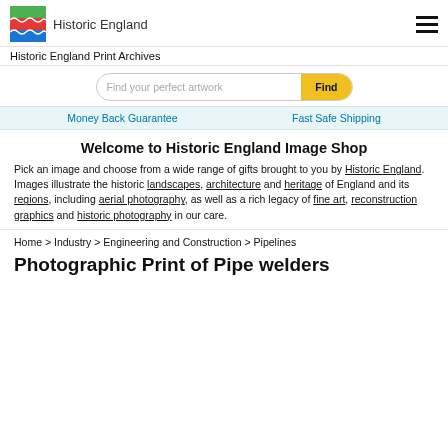Historic England
Historic England Print Archives
Find your perfect artwork Find
Money Back Guarantee   Fast Safe Shipping
Welcome to Historic England Image Shop
Pick an image and choose from a wide range of gifts brought to you by Historic England. Images illustrate the historic landscapes, architecture and heritage of England and its regions, including aerial photography, as well as a rich legacy of fine art, reconstruction graphics and historic photography in our care.
Home > Industry > Engineering and Construction > Pipelines
Photographic Print of Pipe welders